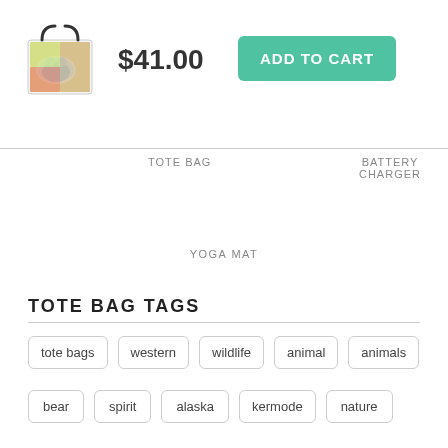[Figure (photo): Tote bag product thumbnail showing a colorful painting of a bear]
$41.00
ADD TO CART
TOTE BAG
BATTERY CHARGER
YOGA MAT
TOTE BAG TAGS
tote bags
western
wildlife
animal
animals
bear
spirit
alaska
kermode
nature